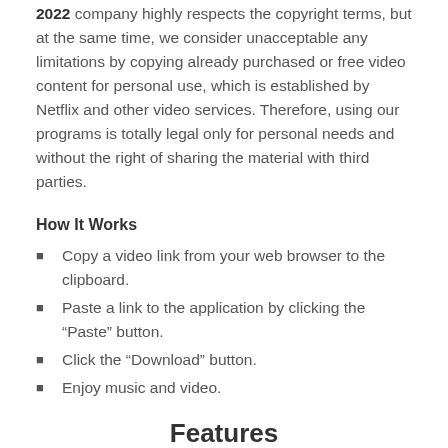2022 company highly respects the copyright terms, but at the same time, we consider unacceptable any limitations by copying already purchased or free video content for personal use, which is established by Netflix and other video services. Therefore, using our programs is totally legal only for personal needs and without the right of sharing the material with third parties.
How It Works
Copy a video link from your web browser to the clipboard.
Paste a link to the application by clicking the “Paste” button.
Click the “Download” button.
Enjoy music and video.
Features
Totally new, nice, and user-friendly interface! We hope